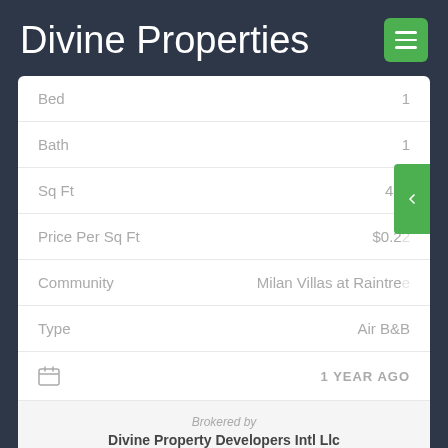Divine Properties
| Field | Value |
| --- | --- |
| Bed | 1 |
| Bath | 1 |
| Sq Ft | 450 |
| Price Per Sq Ft | $0.22 |
| Community | Milan Villas at Raintree |
| Type | Air B&B |
1 YEAR AGO
Brokered by
Divine Property Developers Intl Llc